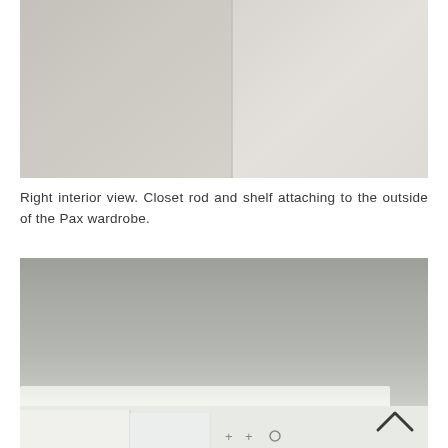[Figure (photo): Top photo showing right interior view of a closet area. Split into two panels by a vertical line - left panel shows a plain wall/surface in beige-gray tones, right panel shows a lighter wall or door surface. The interior corner of a closet or wardrobe space.]
Right interior view. Closet rod and shelf attaching to the outside of the Pax wardrobe.
[Figure (photo): Bottom photo showing a close-up of the top shelf of a Pax wardrobe from below. The shelf surface is visible in gray-green tones (the ceiling of the room or top panel). Below is a white shelf unit with wardrobe panels. A chevron/caret up arrow icon is visible in the lower right area of the image. At the bottom are small navigation icons (plus signs and a circle).]